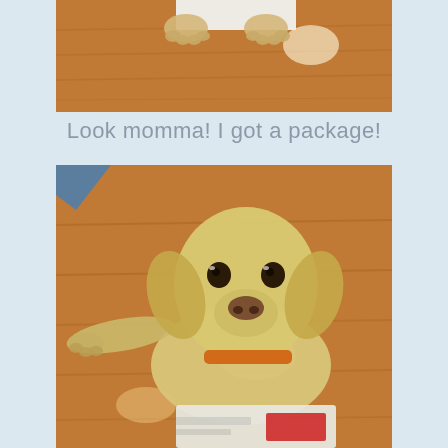[Figure (photo): Top-down view of a dog's paws on a hardwood floor, partially behind a white package or paper, with a light reflection on the floor.]
Look momma!  I got a package!
[Figure (photo): A yellow Labrador Retriever dog lying on a hardwood floor, looking up at the camera with its chin resting on or near a package/bag, one paw stretched out to the side.]